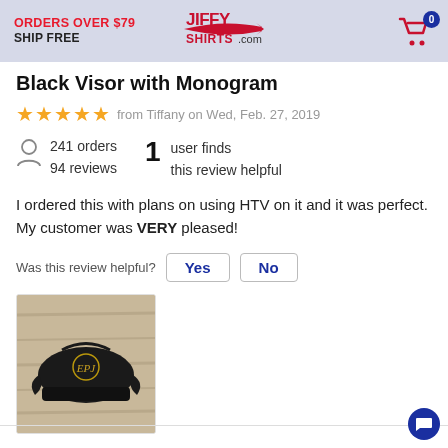ORDERS OVER $79 SHIP FREE | JiffyShirts.com | Cart: 0
Black Visor with Monogram
★★★★★ from Tiffany on Wed, Feb. 27, 2019
241 orders
94 reviews
1 user finds this review helpful
I ordered this with plans on using HTV on it and it was perfect. My customer was VERY pleased!
Was this review helpful? Yes No
[Figure (photo): Black visor hat with monogram embroidery, placed on a wooden surface]
View Review Details >